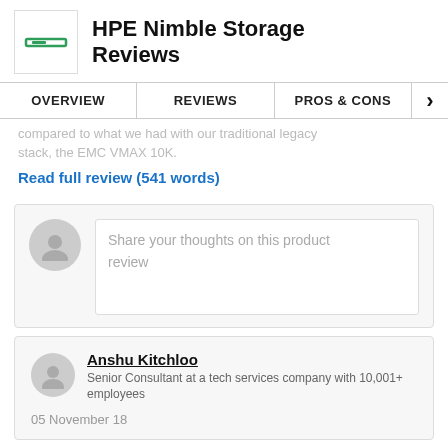HPE Nimble Storage Reviews
OVERVIEW | REVIEWS | PROS & CONS
compared to what we had with our traditional legacy stack, the EMC VMAX 10K.
Read full review (541 words)
Share your thoughts on this product review
Anshu Kitchloo
Senior Consultant at a tech services company with 10,001+ employees
05 November 18